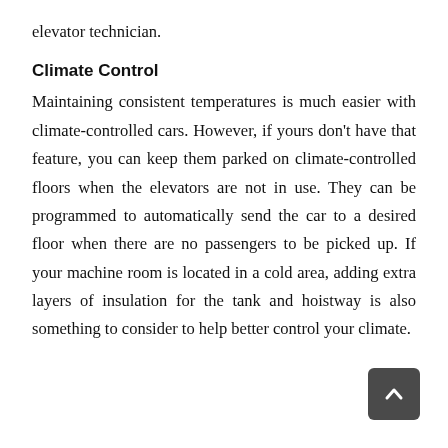elevator technician.
Climate Control
Maintaining consistent temperatures is much easier with climate-controlled cars. However, if yours don't have that feature, you can keep them parked on climate-controlled floors when the elevators are not in use. They can be programmed to automatically send the car to a desired floor when there are no passengers to be picked up. If your machine room is located in a cold area, adding extra layers of insulation for the tank and hoistway is also something to consider to help better control your climate.